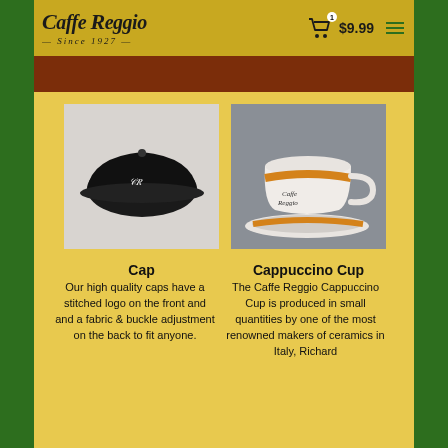Caffe Reggio Since 1927 — Cart $9.99
[Figure (photo): Black baseball cap with white stitched Caffe Reggio logo on front, displayed on white background]
[Figure (photo): White ceramic cappuccino cup with orange stripe and Caffe Reggio branding, sitting on matching saucer, on grey background]
Cap
Cappuccino Cup
Our high quality caps have a stitched logo on the front and and a fabric & buckle adjustment on the back to fit anyone.
The Caffe Reggio Cappuccino Cup is produced in small quantities by one of the most renowned makers of ceramics in Italy, Richard